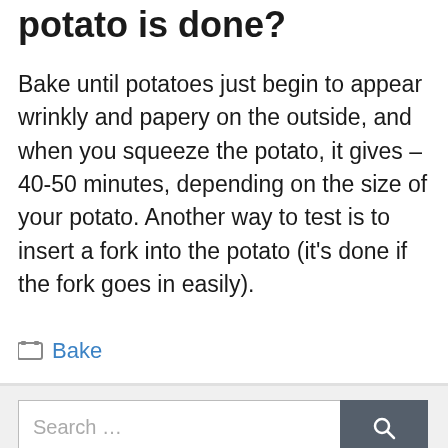potato is done?
Bake until potatoes just begin to appear wrinkly and papery on the outside, and when you squeeze the potato, it gives – 40-50 minutes, depending on the size of your potato. Another way to test is to insert a fork into the potato (it's done if the fork goes in easily).
Categories: Bake